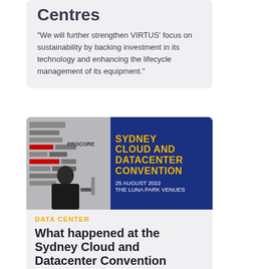Centres
"We will further strengthen VIRTUS' focus on sustainability by backing investment in its technology and enhancing the lifecycle management of its equipment."
[Figure (photo): Photo of a man speaking at a podium at the Sydney Cloud and Datacenter Convention, 25 August 2022, The Luna Park Venues. Sponsor logos visible in background including Schneider, PROCORE, Belden, VFTA and others.]
DATA CENTER
What happened at the Sydney Cloud and Datacenter Convention